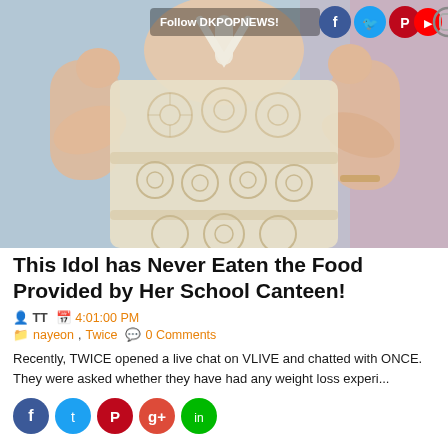[Figure (photo): Photo of a K-pop idol wearing a white lace halter-neck dress, hands raised near the neck, with social media follow bar overlay at the top (Follow DKPOPNEWS! with Facebook, Twitter, Pinterest, YouTube, Instagram icons)]
This Idol has Never Eaten the Food Provided by Her School Canteen!
TT  4:01:00 PM
nayeon, Twice  0 Comments
Recently, TWICE opened a live chat on VLIVE and chatted with ONCE. They were asked whether they have had any weight loss experi...